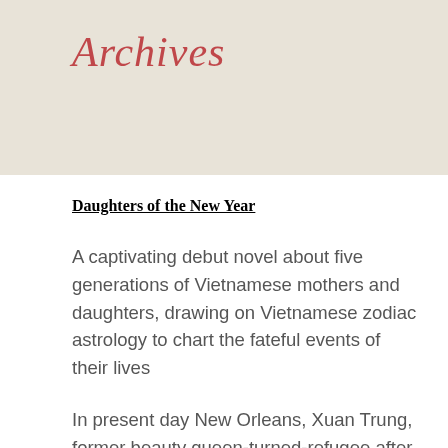Archives
Daughters of the New Year
A captivating debut novel about five generations of Vietnamese mothers and daughters, drawing on Vietnamese zodiac astrology to chart the fateful events of their lives
In present day New Orleans, Xuan Trung, former beauty queen-turned-refugee after the Fall of Saigon, is obsessed with divining her daughters' fates through their Vietnamese zodiac signs. But Trac, Nhi, and Tri, di...